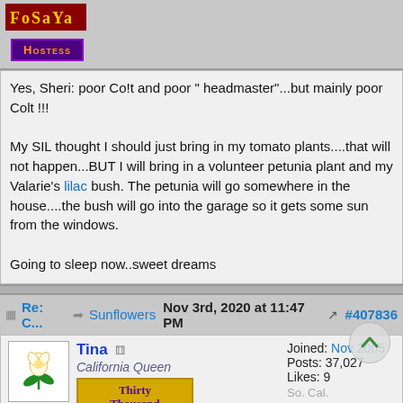[Figure (logo): Forum avatar image with text logo]
Hostess badge/label
Yes, Sheri: poor Co!t and poor " headmaster"...but mainly poor Colt !!!

My SIL thought I should just bring in my tomato plants....that will not happen...BUT I will bring in a volunteer petunia plant and my Valarie's lilac bush. The petunia will go somewhere in the house....the bush will go into the garage so it gets some sun from the windows.

Going to sleep now..sweet dreams
Re: C... ➡ Sunflowers Nov 3rd, 2020 at 11:47 PM ↗ #407836
Tina ⊙ California Queen  Joined: Nov 2005 Posts: 37,027 Likes: 9 So. Cal.
[Figure (logo): Tina's avatar: flower illustration]
[Figure (logo): Thirty Thousand Posts! badge]
lilacs need cold to bloom well, Carol. Why bring it indoors?
Sweet dreams all